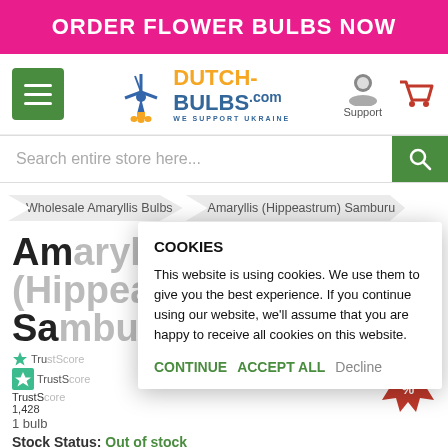ORDER FLOWER BULBS NOW
[Figure (logo): Dutch-Bulbs.com logo with windmill icon and 'WE SUPPORT UKRAINE' tagline]
Search entire store here...
Wholesale Amaryllis Bulbs
Amaryllis (Hippeastrum) Samburu
Amaryllis (Hippeastrum) Samburu
TrustScore 1,428
Stock Status: Out of stock
COOKIES
This website is using cookies. We use them to give you the best experience. If you continue using our website, we'll assume that you are happy to receive all cookies on this website.
CONTINUE   ACCEPT ALL   Decline